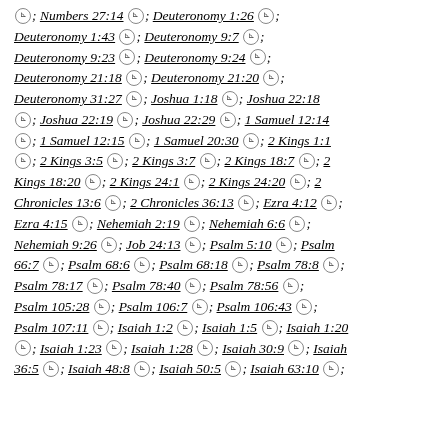; Numbers 27:14 [L]; Deuteronomy 1:26 [L]; Deuteronomy 1:43 [L]; Deuteronomy 9:7 [L]; Deuteronomy 9:23 [L]; Deuteronomy 9:24 [L]; Deuteronomy 21:18 [L]; Deuteronomy 21:20 [L]; Deuteronomy 31:27 [L]; Joshua 1:18 [L]; Joshua 22:18 [L]; Joshua 22:19 [L]; Joshua 22:29 [L]; 1 Samuel 12:14 [L]; 1 Samuel 12:15 [L]; 1 Samuel 20:30 [L]; 2 Kings 1:1 [L]; 2 Kings 3:5 [L]; 2 Kings 3:7 [L]; 2 Kings 18:7 [L]; 2 Kings 18:20 [L]; 2 Kings 24:1 [L]; 2 Kings 24:20 [L]; 2 Chronicles 13:6 [L]; 2 Chronicles 36:13 [L]; Ezra 4:12 [L]; Ezra 4:15 [L]; Nehemiah 2:19 [L]; Nehemiah 6:6 [L]; Nehemiah 9:26 [L]; Job 24:13 [L]; Psalm 5:10 [L]; Psalm 66:7 [L]; Psalm 68:6 [L]; Psalm 68:18 [L]; Psalm 78:8 [L]; Psalm 78:17 [L]; Psalm 78:40 [L]; Psalm 78:56 [L]; Psalm 105:28 [L]; Psalm 106:7 [L]; Psalm 106:43 [L]; Psalm 107:11 [L]; Isaiah 1:2 [L]; Isaiah 1:5 [L]; Isaiah 1:20 [L]; Isaiah 1:23 [L]; Isaiah 1:28 [L]; Isaiah 30:9 [L]; Isaiah 36:5 [L]; Isaiah 48:8 [L]; Isaiah 50:5 [L]; Isaiah 63:10 [L];